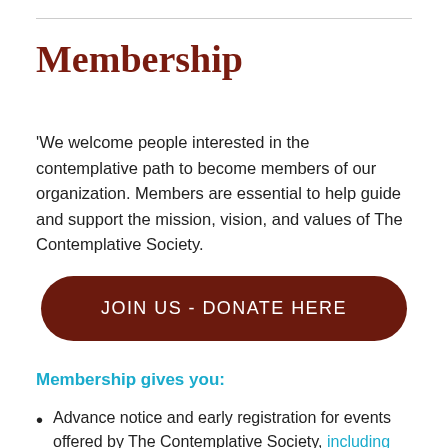Membership
'We welcome people interested in the contemplative path to become members of our organization. Members are essential to help guide and support the mission, vision, and values of The Contemplative Society.
[Figure (other): Dark brown rounded rectangle button with white text: JOIN US - DONATE HERE]
Membership gives you:
Advance notice and early registration for events offered by The Contemplative Society, including our local retreats with Cynthia